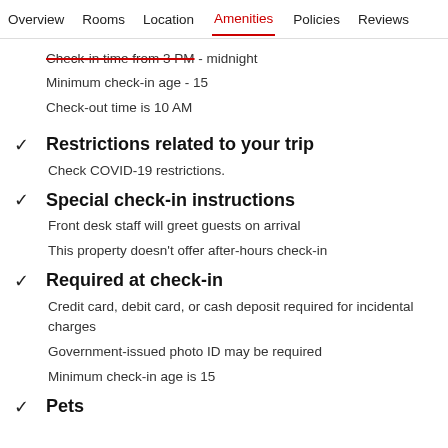Overview  Rooms  Location  Amenities  Policies  Reviews
Check-in time from 3 PM - midnight
Minimum check-in age - 15
Check-out time is 10 AM
Restrictions related to your trip
Check COVID-19 restrictions.
Special check-in instructions
Front desk staff will greet guests on arrival
This property doesn't offer after-hours check-in
Required at check-in
Credit card, debit card, or cash deposit required for incidental charges
Government-issued photo ID may be required
Minimum check-in age is 15
Pets